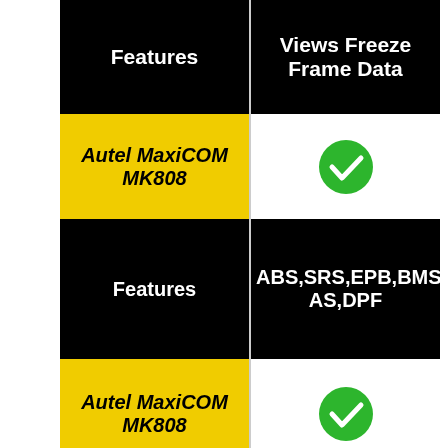| Features | Views Freeze Frame Data |
| --- | --- |
| Autel MaxiCOM MK808 | ✓ |
| Features | ABS,SRS,EPB,BMS,SAS,DPF |
| Autel MaxiCOM MK808 | ✓ |
| Features | Check Engine Light |
|  |  |